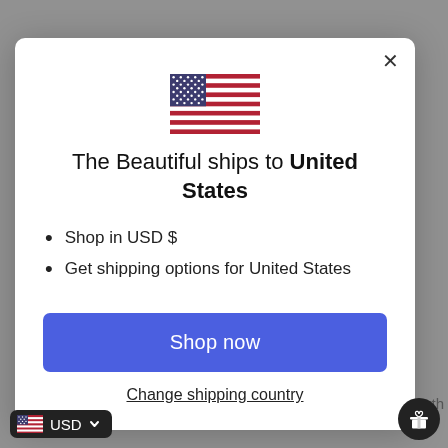[Figure (illustration): US flag SVG illustration centered in modal]
The Beautiful ships to United States
Shop in USD $
Get shipping options for United States
Shop now
Change shipping country
USD
uth